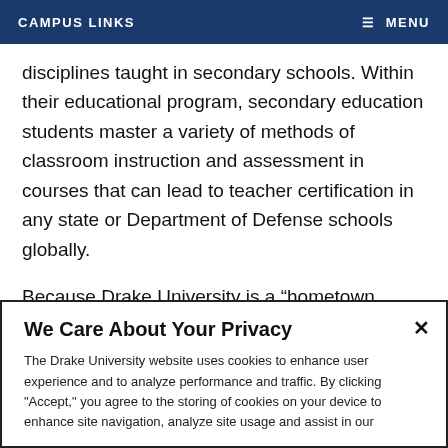CAMPUS LINKS   ☰ MENU
disciplines taught in secondary schools. Within their educational program, secondary education students master a variety of methods of classroom instruction and assessment in courses that can lead to teacher certification in any state or Department of Defense schools globally.
Because Drake University is a “hometown university” in a metropolitan area, School of Education students have the opportunity to interact with PK-12 students and their teachers all four years of their experience through five
We Care About Your Privacy
The Drake University website uses cookies to enhance user experience and to analyze performance and traffic. By clicking "Accept," you agree to the storing of cookies on your device to enhance site navigation, analyze site usage and assist in our